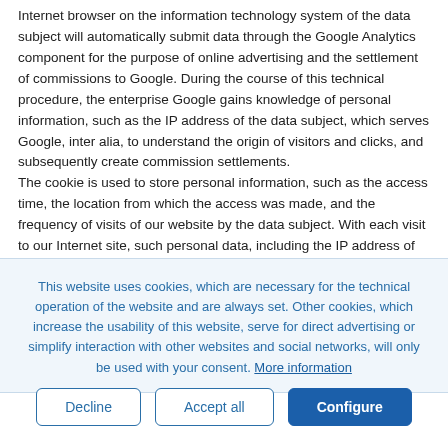Internet browser on the information technology system of the data subject will automatically submit data through the Google Analytics component for the purpose of online advertising and the settlement of commissions to Google. During the course of this technical procedure, the enterprise Google gains knowledge of personal information, such as the IP address of the data subject, which serves Google, inter alia, to understand the origin of visitors and clicks, and subsequently create commission settlements. The cookie is used to store personal information, such as the access time, the location from which the access was made, and the frequency of visits of our website by the data subject. With each visit to our Internet site, such personal data, including the IP address of
This website uses cookies, which are necessary for the technical operation of the website and are always set. Other cookies, which increase the usability of this website, serve for direct advertising or simplify interaction with other websites and social networks, will only be used with your consent. More information
Decline
Accept all
Configure